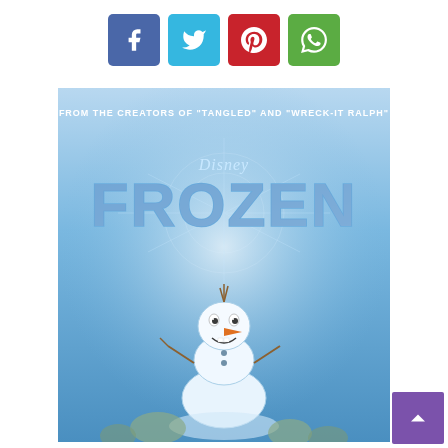[Figure (other): Social share buttons: Facebook (blue), Twitter (cyan), Pinterest (red), WhatsApp (green)]
[Figure (photo): Disney Frozen movie poster featuring Olaf the snowman in the foreground with large icy blue FROZEN title text and snowflake background. Text at top reads: FROM THE CREATORS OF "TANGLED" AND "WRECK-IT RALPH"]